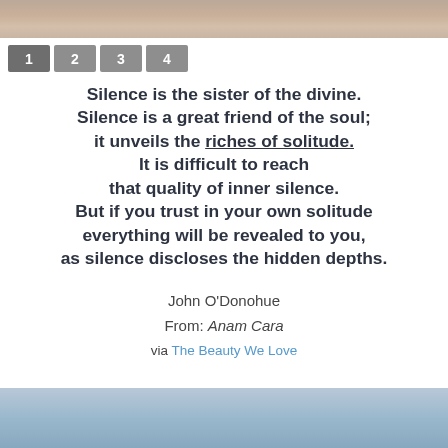[Figure (photo): Top portion of a photo showing hands or sandy surface with light tones]
1 2 3 4
Silence is the sister of the divine. Silence is a great friend of the soul; it unveils the riches of solitude. It is difficult to reach that quality of inner silence. But if you trust in your own solitude everything will be revealed to you, as silence discloses the hidden depths.
John O'Donohue
From: Anam Cara
via The Beauty We Love
[Figure (photo): Bottom portion of a photo showing hands or figure against a blue sky]